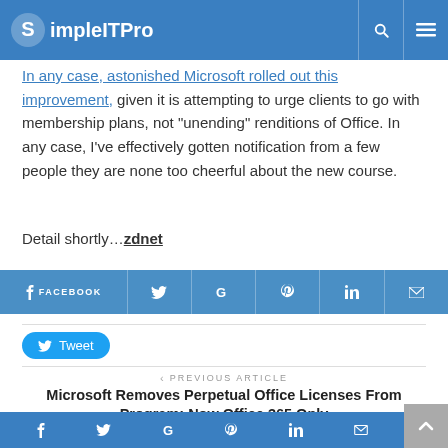SimpleITPro
In any case, astonished Microsoft rolled out this improvement, given it is attempting to urge clients to go with membership plans, not “unending” renditions of Office. In any case, I’ve effectively gotten notification from a few people they are none too cheerful about the new course.
Detail shortly…zdnet
[Figure (infographic): Social share buttons row: FACEBOOK, Twitter, Google+, Pinterest, LinkedIn, Email]
[Figure (infographic): Tweet button]
< PREVIOUS ARTICLE
Microsoft Removes Perpetual Office Licenses From [P]rogram; Now Office 365 Only
Social share icons bar at bottom